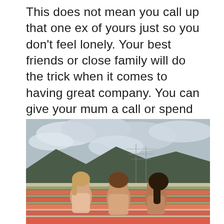This does not mean you call up that one ex of yours just so you don't feel lonely. Your best friends or close family will do the trick when it comes to having great company. You can give your mum a call or spend some quality time with your pet, so if you don't want to be by yourself (although if you do, then do it!), reach out to the ones who mean most.
[Figure (photo): Three young women laughing together in a flower field (tulips in red/orange), with mountains and overcast sky in the background. Power lines visible in distance.]